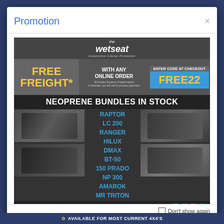Promotion
[Figure (infographic): The Wetseat automotive interior protection promotional ad showing free freight offer with code FREE22 for online orders, neoprene bundles in stock for RAPTOR, LC 200, RANGER, HILUX, DMAX, BT-50, 150 PRADO, NP 300, AMAROK, MR TRITON with seat cover photos]
Check out the NEOPRENE BUNDLED SPECIALS in Hot Categories
Don't show again